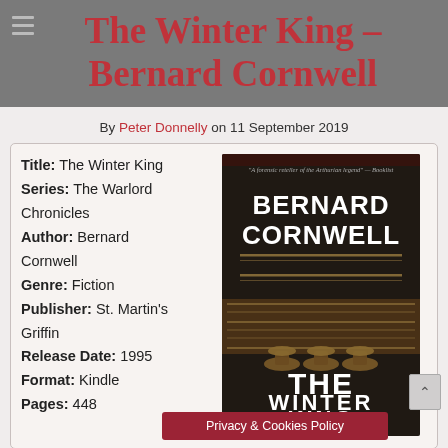The Winter King – Bernard Cornwell
By Peter Donnelly on 11 September 2019
| Title: | The Winter King |
| Series: | The Warlord Chronicles |
| Author: | Bernard Cornwell |
| Genre: | Fiction |
| Publisher: | St. Martin's Griffin |
| Release Date: | 1995 |
| Format: | Kindle |
| Pages: | 448 |
[Figure (photo): Book cover of The Winter King by Bernard Cornwell — white serif title text on dark background with a decorative metalwork motif]
Privacy & Cookies Policy